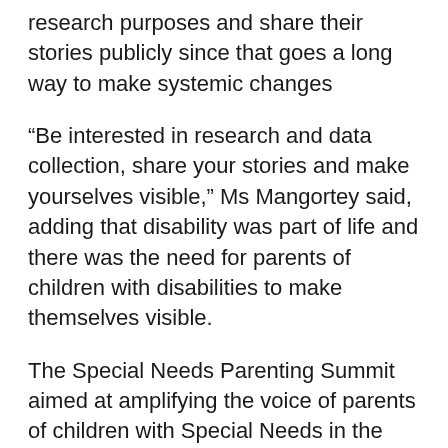research purposes and share their stories publicly since that goes a long way to make systemic changes
“Be interested in research and data collection, share your stories and make yourselves visible,” Ms Mangortey said, adding that disability was part of life and there was the need for parents of children with disabilities to make themselves visible.
The Special Needs Parenting Summit aimed at amplifying the voice of parents of children with Special Needs in the formulation of policies to make life a bit easier for themselves.
Mrs Serwaa Quaynor, Mother of a man with